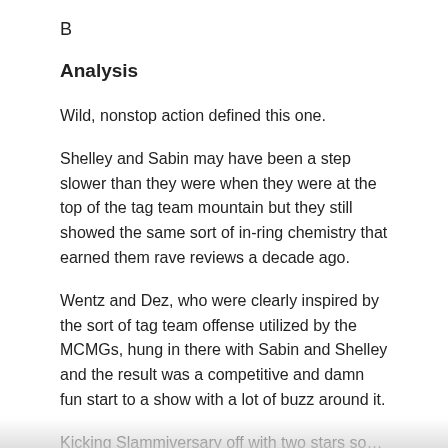B
Analysis
Wild, nonstop action defined this one.
Shelley and Sabin may have been a step slower than they were when they were at the top of the tag team mountain but they still showed the same sort of in-ring chemistry that earned them rave reviews a decade ago.
Wentz and Dez, who were clearly inspired by the sort of tag team offense utilized by the MCMGs, hung in there with Sabin and Shelley and the result was a competitive and damn fun start to a show with a lot of buzz around it.
Kicking Slammiversary off with two stars so…